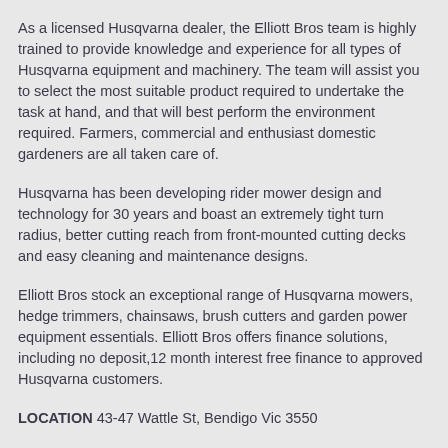As a licensed Husqvarna dealer, the Elliott Bros team is highly trained to provide knowledge and experience for all types of Husqvarna equipment and machinery. The team will assist you to select the most suitable product required to undertake the task at hand, and that will best perform the environment required. Farmers, commercial and enthusiast domestic gardeners are all taken care of.
Husqvarna has been developing rider mower design and technology for 30 years and boast an extremely tight turn radius, better cutting reach from front-mounted cutting decks and easy cleaning and maintenance designs.
Elliott Bros stock an exceptional range of Husqvarna mowers, hedge trimmers, chainsaws, brush cutters and garden power equipment essentials. Elliott Bros offers finance solutions, including no deposit,12 month interest free finance to approved Husqvarna customers.
LOCATION 43-47 Wattle St, Bendigo Vic 3550